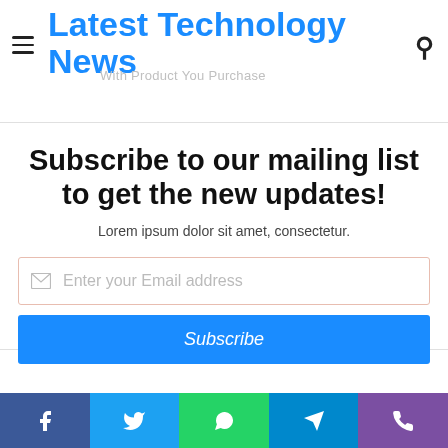Latest Technology News
With Product You Purchase
Subscribe to our mailing list to get the new updates!
Lorem ipsum dolor sit amet, consectetur.
Enter your Email address
Subscribe
[Figure (other): Social media share buttons: Facebook, Twitter, WhatsApp, Telegram, Phone]